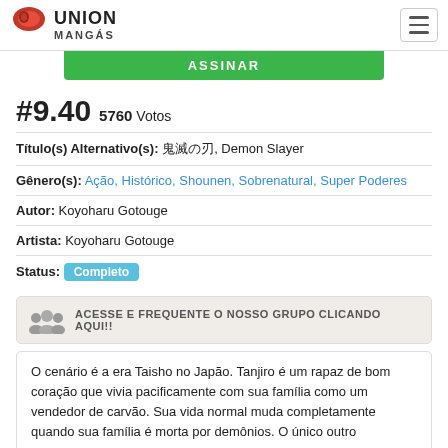UNION MANGÁS
ASSINAR
#9.40  5760 Votos
Título(s) Alternativo(s): 鬼滅の刃, Demon Slayer
Gênero(s): Ação, Histórico, Shounen, Sobrenatural, Super Poderes
Autor: Koyoharu Gotouge
Artista: Koyoharu Gotouge
Status: Completo
ACESSE E FREQUENTE O NOSSO GRUPO CLICANDO AQUI!!
O cenário é a era Taisho no Japão. Tanjiro é um rapaz de bom coração que vivia pacificamente com sua família como um vendedor de carvão. Sua vida normal muda completamente quando sua família é morta por demônios. O único outro sobrevivente, sua irmã mais nova Tanjiro Nezuko,